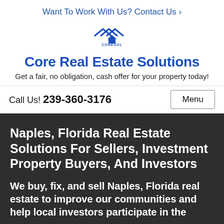Want To Work With Us? Contact Us ›
[Figure (logo): Core Real Estate Solutions logo with house/roof icon]
Core Real Estate Solutions
Get a fair, no obligation, cash offer for your property today!
Call Us! 239-360-3176   Menu
Naples, Florida Real Estate Solutions For Sellers, Investment Property Buyers, And Investors
We buy, fix, and sell Naples, Florida real estate to improve our communities and help local investors participate in the